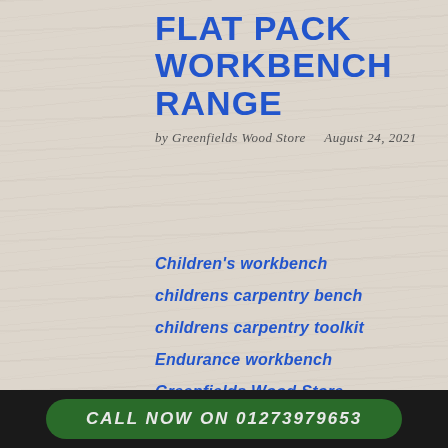FLAT PACK WORKBENCH RANGE
by Greenfields Wood Store    August 24, 2021
Children's workbench
childrens carpentry bench
childrens carpentry toolkit
Endurance workbench
Greenfields Wood Store
CALL NOW ON 01273979653